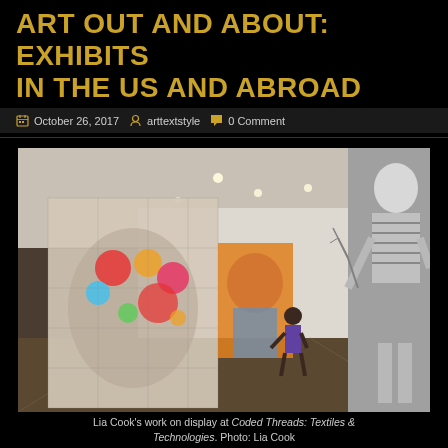ART OUT AND ABOUT: EXHIBITS IN THE US AND ABROAD
October 26, 2017  arttextstyle  0 Comment
[Figure (photo): Gallery interior showing large-scale textile works by Lia Cook on display at Coded Threads: Textiles & Technologies. Left: a large banner with a pixelated face overlaid with colorful dots on a grid. Center: a colorful portrait hanging. Right: a large black-and-white photograph of a child. A gallery visitor stands in the middle distance.]
Lia Cook's work on display at Coded Threads: Textiles & Technologies. Photo: Lia Cook